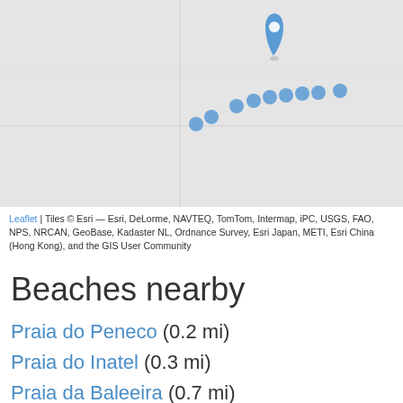[Figure (map): Interactive Leaflet map showing a coastal area with a blue location pin marker in the upper center and multiple smaller blue dot markers clustered to its right and lower-left, on a light gray map background.]
Leaflet | Tiles © Esri — Esri, DeLorme, NAVTEQ, TomTom, Intermap, iPC, USGS, FAO, NPS, NRCAN, GeoBase, Kadaster NL, Ordnance Survey, Esri Japan, METI, Esri China (Hong Kong), and the GIS User Community
Beaches nearby
Praia do Peneco (0.2 mi)
Praia do Inatel (0.3 mi)
Praia da Baleeira (0.7 mi)
Praia dos Alemães (0.7 mi)
Praia dos Aveiros (1.1 mi)